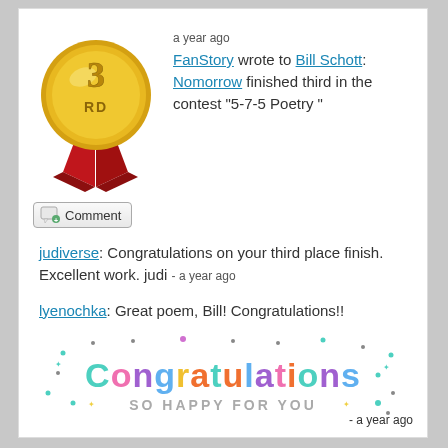[Figure (illustration): Gold 3rd place medal with red ribbon]
a year ago
FanStory wrote to Bill Schott: Nomorrow finished third in the contest "5-7-5 Poetry "
[Figure (other): Comment button with speech bubble icon]
judiverse: Congratulations on your third place finish. Excellent work. judi - a year ago
lyenochka: Great poem, Bill! Congratulations!!
[Figure (illustration): Colorful Congratulations graphic with text SO HAPPY FOR YOU and decorative dots/stars]
- a year ago